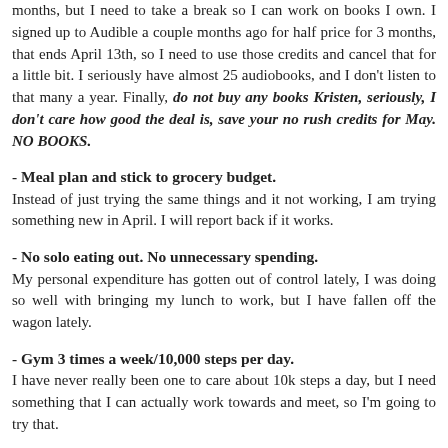months, but I need to take a break so I can work on books I own. I signed up to Audible a couple months ago for half price for 3 months, that ends April 13th, so I need to use those credits and cancel that for a little bit. I seriously have almost 25 audiobooks, and I don't listen to that many a year. Finally, do not buy any books Kristen, seriously, I don't care how good the deal is, save your no rush credits for May. NO BOOKS.
- Meal plan and stick to grocery budget.
Instead of just trying the same things and it not working, I am trying something new in April. I will report back if it works.
- No solo eating out. No unnecessary spending.
My personal expenditure has gotten out of control lately, I was doing so well with bringing my lunch to work, but I have fallen off the wagon lately.
- Gym 3 times a week/10,000 steps per day.
I have never really been one to care about 10k steps a day, but I need something that I can actually work towards and meet, so I'm going to try that.